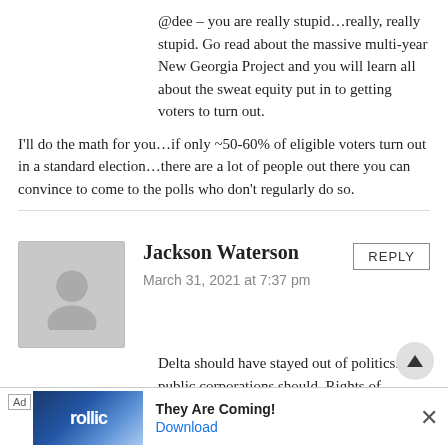@dee – you are really stupid…really, really stupid. Go read about the massive multi-year New Georgia Project and you will learn all about the sweat equity put in to getting voters to turn out.

I'll do the math for you…if only ~50-60% of eligible voters turn out in a standard election…there are a lot of people out there you can convince to come to the polls who don't regularly do so.
Jackson Waterson
March 31, 2021 at 7:37 pm
Delta should have stayed out of politics. All public corporations should. Rights of minority shareholders get violated when management makes decisions for political causes or charitable contributions.

Still, Delta was right the first time. Anyone opposing voter ID wants fraud to happen. They want legitimate voters to be disenfranchised. I agree democracy is just tyranny of the majority. We should all separate and have our own countries
[Figure (infographic): Advertisement bar at bottom: Ad label, game app image with Rollic logo, 'They Are Coming!' text, Download button, X close button]